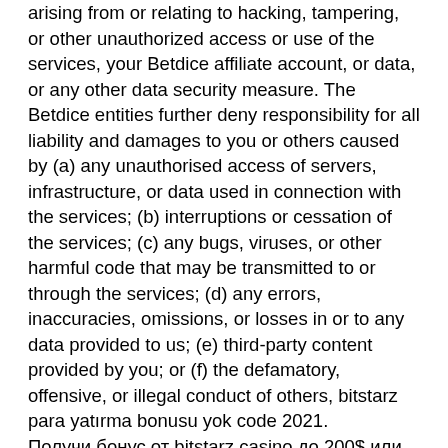arising from or relating to hacking, tampering, or other unauthorized access or use of the services, your Betdice affiliate account, or data, or any other data security measure. The Betdice entities further deny responsibility for all liability and damages to you or others caused by (a) any unauthorised access of servers, infrastructure, or data used in connection with the services; (b) interruptions or cessation of the services; (c) any bugs, viruses, or other harmful code that may be transmitted to or through the services; (d) any errors, inaccuracies, omissions, or losses in or to any data provided to us; (e) third-party content provided by you; or (f) the defamatory, offensive, or illegal conduct of others, bitstarz para yatırma bonusu yok code 2021.
Получи бонус от bitstarz casino до 200$ или 1btc + 180 fs при регистрации с промокодом 🎰. Введя при регистрации в